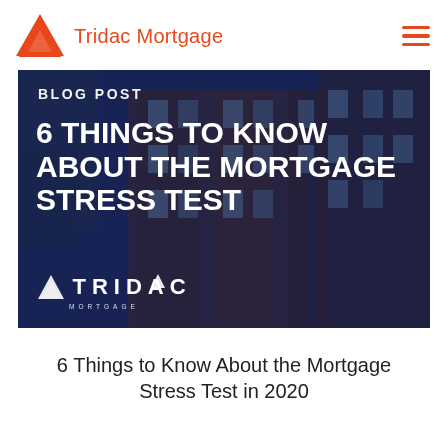Tridac Mortgage
[Figure (photo): Blog post hero image showing brick apartment buildings with a dark blue overlay. White text reads 'BLOG POST' and '6 THINGS TO KNOW ABOUT THE MORTGAGE STRESS TEST' with the Tridac Mortgage logo at bottom left.]
6 Things to Know About the Mortgage Stress Test in 2020